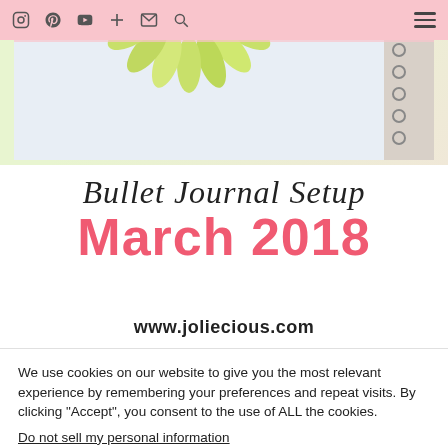Navigation icons: Instagram, Pinterest, YouTube, Plus, Email, Search, Hamburger menu
[Figure (photo): Partial view of a bullet journal page with a sunflower/mandala drawing in yellow-green colors, spiral binding visible on the right]
Bullet Journal Setup March 2018
www.joliecious.com
We use cookies on our website to give you the most relevant experience by remembering your preferences and repeat visits. By clicking “Accept”, you consent to the use of ALL the cookies.
Do not sell my personal information.
Cookie Settings   Accept